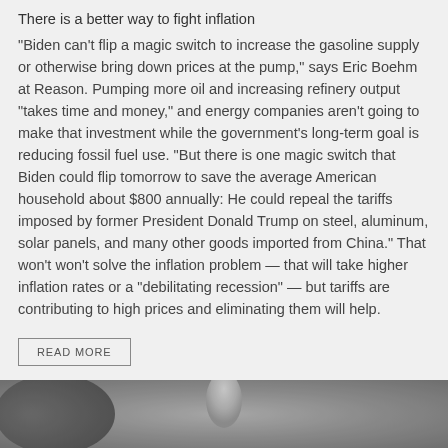There is a better way to fight inflation
"Biden can't flip a magic switch to increase the gasoline supply or otherwise bring down prices at the pump," says Eric Boehm at Reason. Pumping more oil and increasing refinery output "takes time and money," and energy companies aren't going to make that investment while the government's long-term goal is reducing fossil fuel use. "But there is one magic switch that Biden could flip tomorrow to save the average American household about $800 annually: He could repeal the tariffs imposed by former President Donald Trump on steel, aluminum, solar panels, and many other goods imported from China." That won't won't solve the inflation problem — that will take higher inflation rates or a "debilitating recession" — but tariffs are contributing to high prices and eliminating them will help.
READ MORE
[Figure (photo): A blurry close-up grayscale photograph, appearing to show a metallic or glass object, partially visible at the bottom of the page.]